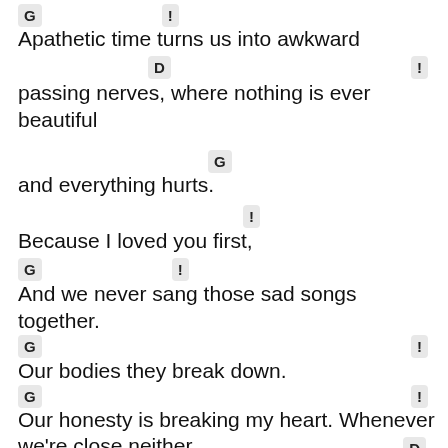G   !
Apathetic time turns us into awkward
D   !
passing nerves, where nothing is ever beautiful
G
and everything hurts.
!
Because I loved you first,
G   !
And we never sang those sad songs together.
G   !
Our bodies they break down.
G   !
Our honesty is breaking my heart. Whenever we're close neither
D